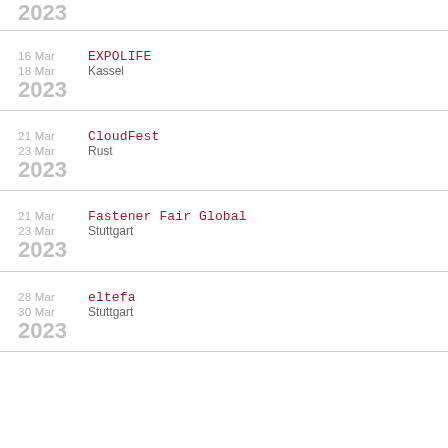2023
16 Mar – 18 Mar | EXPOLIFE | Kassel | 2023
21 Mar – 23 Mar | CloudFest | Rust | 2023
21 Mar – 23 Mar | Fastener Fair Global | Stuttgart | 2023
28 Mar – 30 Mar | eltefa | Stuttgart | 2023